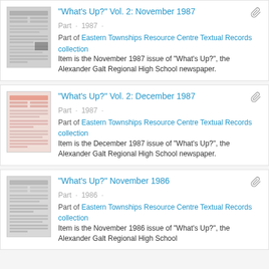"What's Up?" Vol. 2: November 1987 | Part · 1987 · | Part of Eastern Townships Resource Centre Textual Records collection | Item is the November 1987 issue of "What's Up?", the Alexander Galt Regional High School newspaper.
"What's Up?" Vol. 2: December 1987 | Part · 1987 · | Part of Eastern Townships Resource Centre Textual Records collection | Item is the December 1987 issue of "What's Up?", the Alexander Galt Regional High School newspaper.
"What's Up?" November 1986 | Part · 1986 · | Part of Eastern Townships Resource Centre Textual Records collection | Item is the November 1986 issue of "What's Up?", the Alexander Galt Regional High School